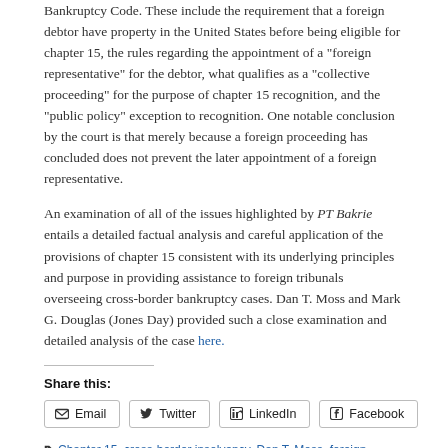Bankruptcy Code. These include the requirement that a foreign debtor have property in the United States before being eligible for chapter 15, the rules regarding the appointment of a “foreign representative” for the debtor, what qualifies as a “collective proceeding” for the purpose of chapter 15 recognition, and the “public policy” exception to recognition. One notable conclusion by the court is that merely because a foreign proceeding has concluded does not prevent the later appointment of a foreign representative.
An examination of all of the issues highlighted by PT Bakrie entails a detailed factual analysis and careful application of the provisions of chapter 15 consistent with its underlying principles and purpose in providing assistance to foreign tribunals overseeing cross-border bankruptcy cases. Dan T. Moss and Mark G. Douglas (Jones Day) provided such a close examination and detailed analysis of the case here.
Share this:
Email | Twitter | LinkedIn | Facebook
Tags: Chapter 15, cross-border insolvency, Dan T. Moss, foreign bankruptcy, JIN, Mark G. Douglas, recognition, SDNY